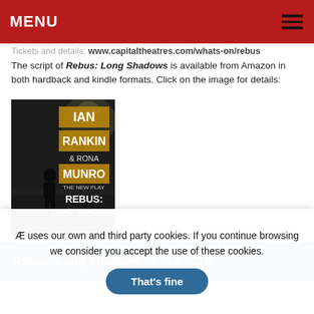MENU
Tickets and details: www.capitaltheatres.com/whats-on/rebus
The script of Rebus: Long Shadows is available from Amazon in both hardback and kindle formats. Click on the image for details:
[Figure (photo): Book cover of 'Rebus: Long Shadows' by Ian Rankin & Rona Munro – dark background with a silhouette of a person, gold and white text]
Rebus: Long Shadows on tour 2018:
Æ uses our own and third party cookies. If you continue browsing we consider you accept the use of these cookies.